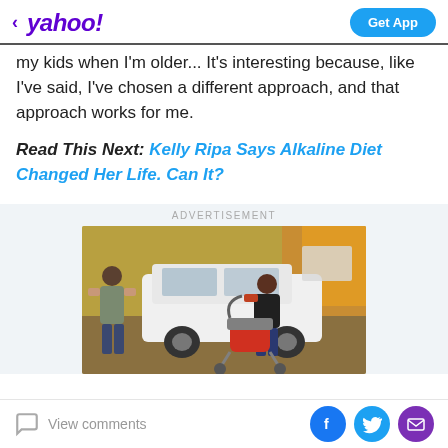< yahoo! | Get App
my kids when I'm older... It's interesting because, like I've said, I've chosen a different approach, and that approach works for me.
Read This Next: Kelly Ripa Says Alkaline Diet Changed Her Life. Can It?
ADVERTISEMENT
[Figure (photo): A man and woman standing by a white SUV car outdoors among autumn trees. The woman is bending over a red and grey baby stroller/pram near the open car door. The man is at the open trunk.]
View comments | Facebook | Twitter | Email